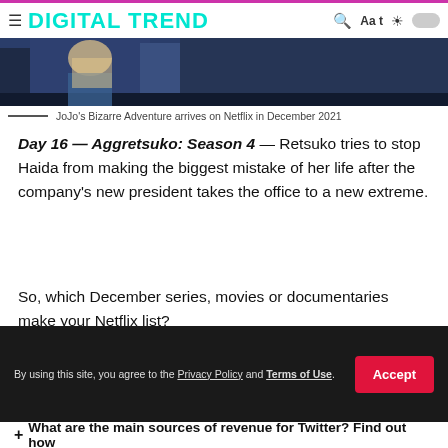DIGITAL TREND
[Figure (photo): Partial view of an anime character from JoJo's Bizarre Adventure, dark background with blue tones]
JoJo's Bizarre Adventure arrives on Netflix in December 2021
Day 16 — Aggretsuko: Season 4 — Retsuko tries to stop Haida from making the biggest mistake of her life after the company's new president takes the office to a new extreme.
So, which December series, movies or documentaries make your Netflix list?
/ You Might Also Like /
+ How to Get Canva Pro For Free For LifeTime
By using this site, you agree to the Privacy Policy and Terms of Use.
+ What are the main sources of revenue for Twitter? Find out how